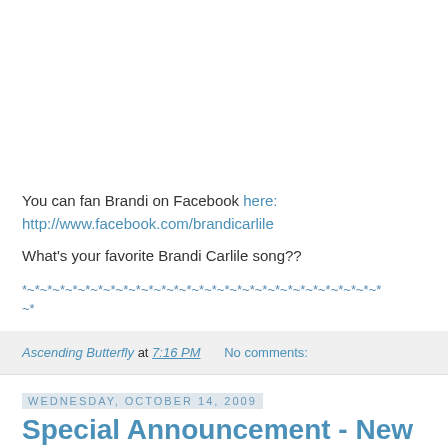You can fan Brandi on Facebook here: http://www.facebook.com/brandicarlile
What's your favorite Brandi Carlile song??
*~*~*~*~*~*~*~*~*~*~*~*~*~*~*~*~*~*~*~*~*~*~*~*~*~*
Ascending Butterfly at 7:16 PM   No comments:
Wednesday, October 14, 2009
Special Announcement - New York